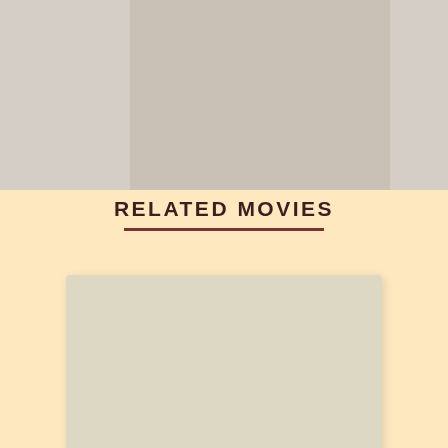[Figure (photo): Gray/beige placeholder image area at top of page, partially visible]
RELATED MOVIES
[Figure (photo): Beige/tan placeholder thumbnail for movie card]
Mar 2019
17m 03s
Heatwave 290 01